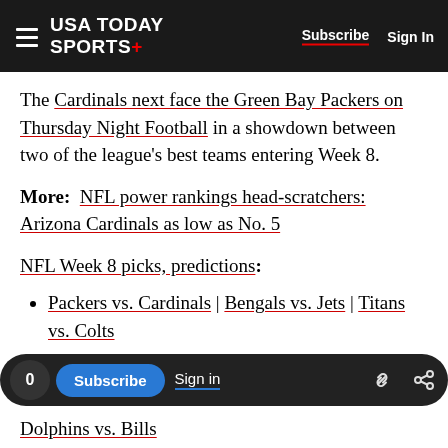USA TODAY SPORTS+  Subscribe  Sign In
The Cardinals next face the Green Bay Packers on Thursday Night Football in a showdown between two of the league's best teams entering Week 8.
More: NFL power rankings head-scratchers: Arizona Cardinals as low as No. 5
NFL Week 8 picks, predictions:
Packers vs. Cardinals | Bengals vs. Jets | Titans vs. Colts
Rams vs. Texans | Steelers vs. Browns | Eagles vs. Lions
Dolphins vs. Bills